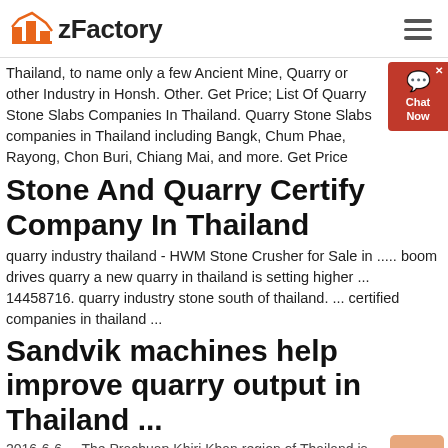zFactory
Thailand, to name only a few Ancient Mine, Quarry or other Industry in Honsh. Other. Get Price; List Of Quarry Stone Slabs Companies In Thailand. Quarry Stone Slabs companies in Thailand including Bangkok, Chum Phae, Rayong, Chon Buri, Chiang Mai, and more. Get Price
Stone And Quarry Certify Company In Thailand
quarry industry thailand - HWM Stone Crusher for Sale in ..... boom drives quarry a new quarry in thailand is setting higher ... 14458716. quarry industry stone south of thailand. ... certified companies in thailand ...
Sandvik machines help improve quarry output in Thailand ...
2016-6-6 · The Prachuap Khiri Khan region of Thailand is well known for producing high quality aggregates, with four quarries and six concrete